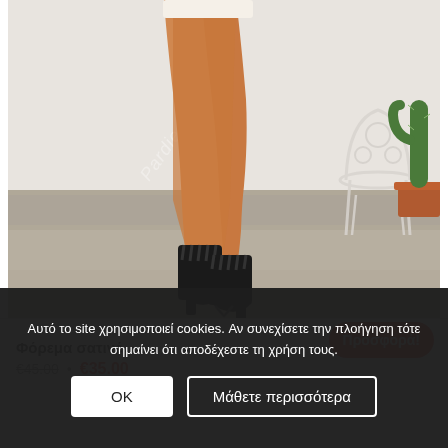[Figure (photo): Fashion photo showing a woman's legs wearing black ankle boots/booties with a block heel, standing on a concrete floor with a white decorative metal chair and a cactus plant in terracotta pot in the background. Watermark text 'Pardie Fashion' visible diagonally.]
Φόρεμα σατινέ
€45.00 • €35.00
Προσφορά!
Αυτό το site χρησιμοποιεί cookies. Αν συνεχίσετε την πλοήγηση τότε σημαίνει ότι αποδέχεστε τη χρήση τους.
OK
Μάθετε περισσότερα